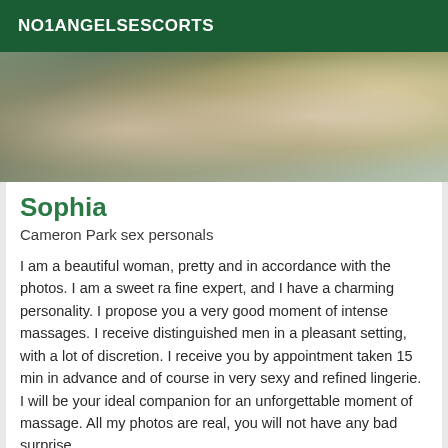NO1ANGELSESCORTS
[Figure (photo): Cropped photo of a person from behind, lying down, wearing light-colored clothing, on a textured surface with floral elements visible]
Sophia
Cameron Park sex personals
I am a beautiful woman, pretty and in accordance with the photos. I am a sweet ra fine expert, and I have a charming personality. I propose you a very good moment of intense massages. I receive distinguished men in a pleasant setting, with a lot of discretion. I receive you by appointment taken 15 min in advance and of course in very sexy and refined lingerie. I will be your ideal companion for an unforgettable moment of massage. All my photos are real, you will not have any bad surprise.
[Figure (photo): Partial photo at bottom showing soft purple/lavender tones, appears to be another profile photo]